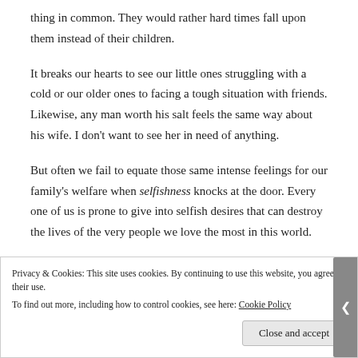thing in common. They would rather hard times fall upon them instead of their children.
It breaks our hearts to see our little ones struggling with a cold or our older ones to facing a tough situation with friends. Likewise, any man worth his salt feels the same way about his wife. I don't want to see her in need of anything.
But often we fail to equate those same intense feelings for our family's welfare when selfishness knocks at the door. Every one of us is prone to give into selfish desires that can destroy the lives of the very people we love the most in this world.
Privacy & Cookies: This site uses cookies. By continuing to use this website, you agree to their use. To find out more, including how to control cookies, see here: Cookie Policy